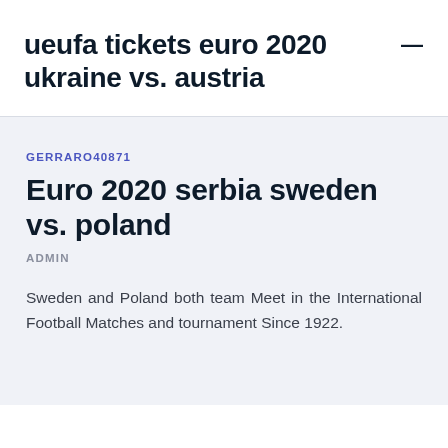ueufa tickets euro 2020 ukraine vs. austria
GERRARO40871
Euro 2020 serbia sweden vs. poland
ADMIN
Sweden and Poland both team Meet in the International Football Matches and tournament Since 1922.